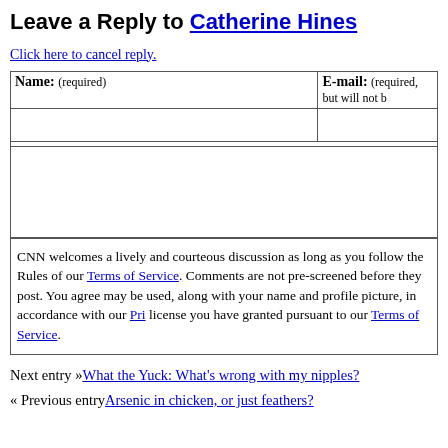Leave a Reply to Catherine Hines
Click here to cancel reply.
| Name: (required) | E-mail: (required, but will not be published) |
| --- | --- |
|  |  |
| URL: |  |
CNN welcomes a lively and courteous discussion as long as you follow the Rules of Conduct set forth in our Terms of Service. Comments are not pre-screened before they post. You agree that anything you post may be used, along with your name and profile picture, in accordance with our Privacy Policy and the license you have granted pursuant to our Terms of Service.
Next entry »What the Yuck: What's wrong with my nipples?
« Previous entryArsenic in chicken, or just feathers?